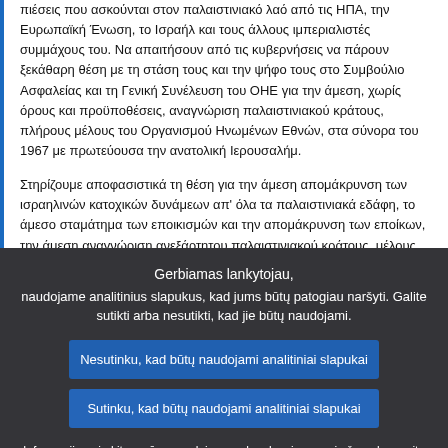πιέσεις που ασκούνται στον παλαιστινιακό λαό από τις ΗΠΑ, την Ευρωπαϊκή Ένωση, το Ισραήλ και τους άλλους ιμπεριαλιστές συμμάχους του. Να απαιτήσουν από τις κυβερνήσεις να πάρουν ξεκάθαρη θέση με τη στάση τους και την ψήφο τους στο Συμβούλιο Ασφαλείας και τη Γενική Συνέλευση του ΟΗΕ για την άμεση, χωρίς όρους και προϋποθέσεις, αναγνώριση παλαιστινιακού κράτους, πλήρους μέλους του Οργανισμού Ηνωμένων Εθνών, στα σύνορα του 1967 με πρωτεύουσα την ανατολική Ιερουσαλήμ.

Στηρίζουμε αποφασιστικά τη θέση για την άμεση απομάκρυνση των ισραηλινών κατοχικών δυνάμεων απ' όλα τα παλαιστινιακά εδάφη, το άμεσο σταμάτημα των εποικισμών και την απομάκρυνση των εποίκων, την άμεση αναγνώριση ανεξάρτητου παλαιστινιακού κράτους, μέλους του Οργανισμού Ηνωμένων Εθνών.
Gerbiamas lankytojau, naudojame analitinius slapukus, kad jums būtų patogiau naršyti. Galite sutikti arba nesutikti, kad jie būtų naudojami.
Nesutinku, kad būtų naudojami analitiniai slapukai
Sutinku, kad būtų naudojami analitiniai slapukai
Informaciją apie kitus mūsų naudojamus slapukus ir serverio žurnalus rasite perskaitę mūsų duomenų apsaugos politiką , slapukų politiką ir slapukų aprašą.